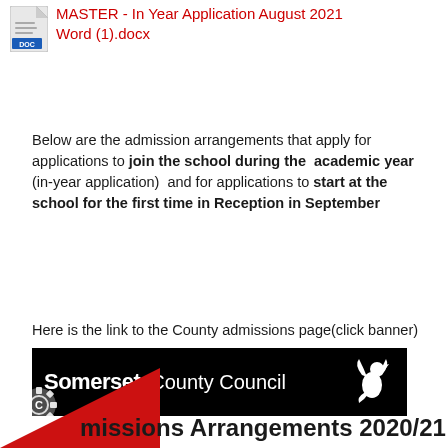[Figure (other): Word document icon (.docx file)]
MASTER - In Year Application August 2021 Word (1).docx
Below are the admission arrangements that apply for applications to join the school during the  academic year (in-year application)  and for applications to start at the school for the first time in Reception in September
Here is the link to the County admissions page(click banner)
[Figure (logo): Somerset County Council logo — black banner with white text and griffin icon]
missions Arrangements 2020/21